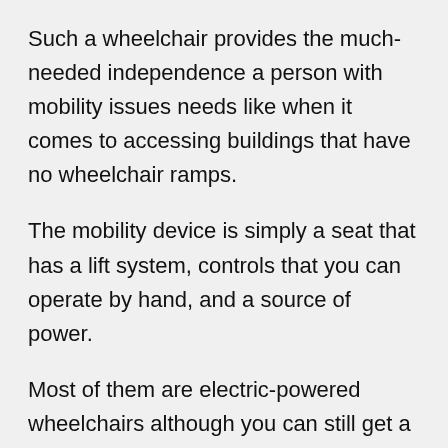Such a wheelchair provides the much-needed independence a person with mobility issues needs like when it comes to accessing buildings that have no wheelchair ramps.
The mobility device is simply a seat that has a lift system, controls that you can operate by hand, and a source of power.
Most of them are electric-powered wheelchairs although you can still get a manual wheelchair. We've compiled a list of some of the best stair climbing wheelchairs on the market.